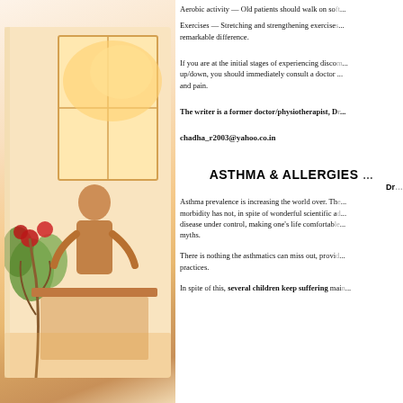[Figure (illustration): Decorative illustration of a person at a window with fruit/plants, warm orange and golden tones]
Aerobic activity — Old patients should walk on soft...
Exercises — Stretching and strengthening exercises... remarkable difference.
If you are at the initial stages of experiencing disco... up/down, you should immediately consult a doctor... and pain.
The writer is a former doctor/physiotherapist, D...
chadha_r2003@yahoo.co.in
ASTHMA & ALLERGIES ...
Dr...
Asthma prevalence is increasing the world over. Th... morbidity has not, in spite of wonderful scientific a... disease under control, making one's life comfortab... myths.
There is nothing the asthmatics can miss out, provi... practices.
In spite of this, several children keep suffering mai...